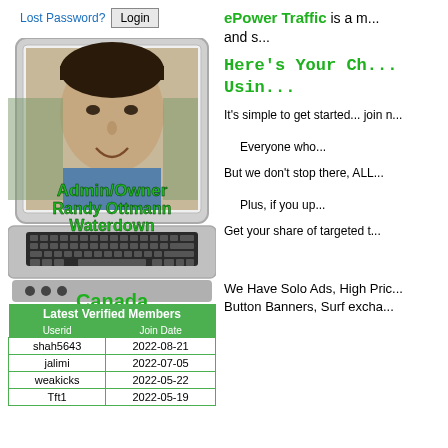Lost Password? Login
[Figure (illustration): Laptop computer illustration with a photo of a man (Admin/Owner Randy Ottmann) displayed on the screen. Text overlays on laptop: 'Admin/Owner', 'Randy Ottmann', 'Waterdown', 'Canada']
ePower Traffic is a m... and s...
Here's Your Ch... Usin...
It's simple to get started... join n...
Everyone who...
But we don't stop there, ALL...
Plus, if you up...
Get your share of targeted t...
We Have Solo Ads, High Pric... Button Banners, Surf excha...
| Latest Verified Members |  |
| --- | --- |
| Userid | Join Date |
| shah5643 | 2022-08-21 |
| jalimi | 2022-07-05 |
| weakicks | 2022-05-22 |
| Tft1 | 2022-05-19 |